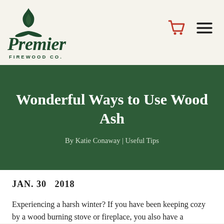[Figure (logo): Premier Firewood Co. logo with green flame icon above bold serif 'Premier' text and 'FIREWOOD CO.' subtitle]
Wonderful Ways to Use Wood Ash
By Katie Conaway | Useful Tips
JAN. 30  2018
Experiencing a harsh winter? If you have been keeping cozy by a wood burning stove or fireplace, you also have a